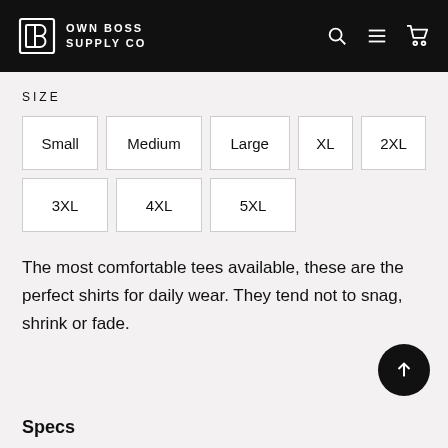OWN BOSS SUPPLY CO
SIZE
| Small | Medium | Large | XL | 2XL |
| 3XL | 4XL | 5XL |
The most comfortable tees available, these are the perfect shirts for daily wear. They tend not to snag, shrink or fade.
Specs